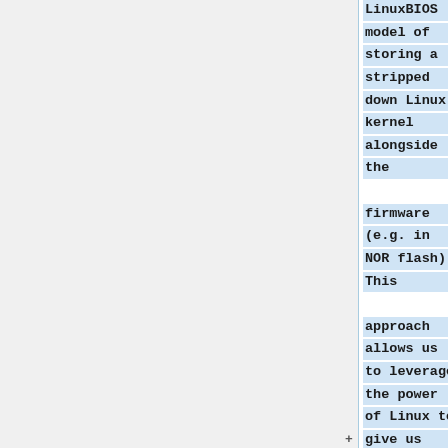LinuxBIOS model of storing a stripped down Linux kernel alongside the firmware (e.g. in NOR flash). This approach allows us to leverage the power of Linux to give us maximum features and capabilities